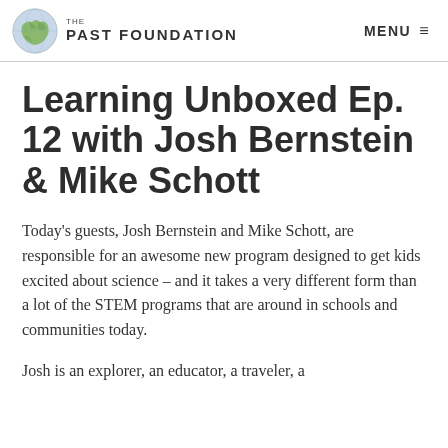THE PAST FOUNDATION | MENU
Learning Unboxed Ep. 12 with Josh Bernstein & Mike Schott
Today's guests, Josh Bernstein and Mike Schott, are responsible for an awesome new program designed to get kids excited about science – and it takes a very different form than a lot of the STEM programs that are around in schools and communities today.
Josh is an explorer, an educator, a traveler, a